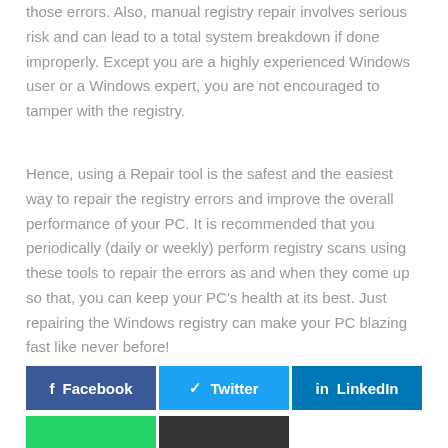those errors. Also, manual registry repair involves serious risk and can lead to a total system breakdown if done improperly. Except you are a highly experienced Windows user or a Windows expert, you are not encouraged to tamper with the registry.
Hence, using a Repair tool is the safest and the easiest way to repair the registry errors and improve the overall performance of your PC. It is recommended that you periodically (daily or weekly) perform registry scans using these tools to repair the errors as and when they come up so that, you can keep your PC's health at its best. Just repairing the Windows registry can make your PC blazing fast like never before!